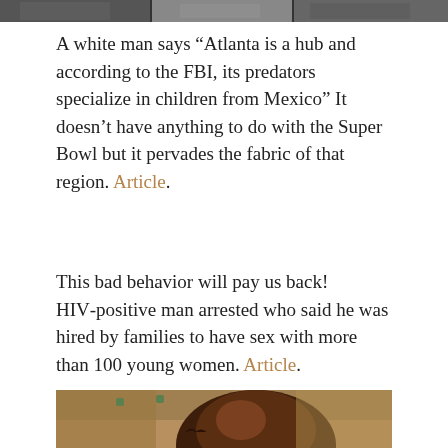[Figure (photo): Partial strip of a photo at top of page, cropped — people visible]
A white man says “Atlanta is a hub and according to the FBI, its predators specialize in children from Mexico” It doesn’t have anything to do with the Super Bowl but it pervades the fabric of that region. Article.
This bad behavior will pay us back! HIV-positive man arrested who said he was hired by families to have sex with more than 100 young women. Article.
[Figure (photo): Photo of a young Black man looking toward camera, outdoors with brick/earthen wall in background; a small bird visible mid-air near his shoulder]